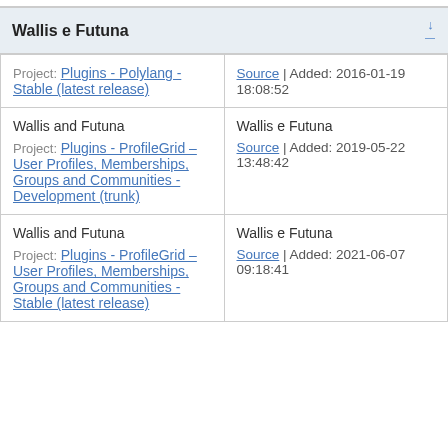Wallis e Futuna
| Source (left) | Source (right) |
| --- | --- |
| Project: Plugins - Polylang - Stable (latest release) | Source | Added: 2016-01-19 18:08:52 |
| Wallis and Futuna
Project: Plugins - ProfileGrid – User Profiles, Memberships, Groups and Communities - Development (trunk) | Wallis e Futuna
Source | Added: 2019-05-22 13:48:42 |
| Wallis and Futuna
Project: Plugins - ProfileGrid – User Profiles, Memberships, Groups and Communities - Stable (latest release) | Wallis e Futuna
Source | Added: 2021-06-07 09:18:41 |